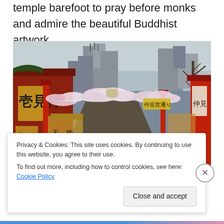temple barefoot to pray before monks and admire the beautiful Buddhist artwork.
[Figure (photo): Crowded street scene at Senso-ji temple in Asakusa, Tokyo. Red traditional Japanese torii gates and temple buildings line both sides of a busy pedestrianized shopping street (Nakamise). Cherry blossom decorations hang overhead. Many tourists and visitors crowd the street. Kanji signs visible on temple structures. Urban buildings visible in the background under an overcast sky.]
Privacy & Cookies: This site uses cookies. By continuing to use this website, you agree to their use.
To find out more, including how to control cookies, see here: Cookie Policy